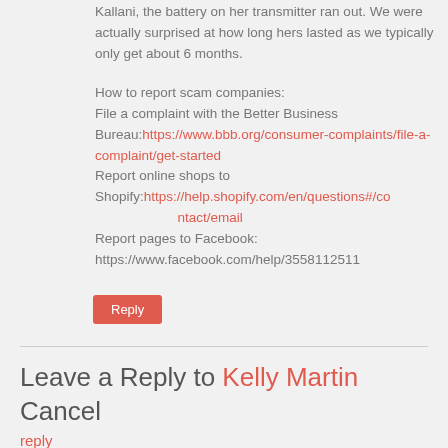Kallani, the battery on her transmitter ran out. We were actually surprised at how long hers lasted as we typically only get about 6 months.
How to report scam companies:
File a complaint with the Better Business Bureau:https://www.bbb.org/consumer-complaints/file-a-complaint/get-started
Report online shops to Shopify:https://help.shopify.com/en/questions#/contact/email
Report pages to Facebook: https://www.facebook.com/help/3558112511
Reply
Leave a Reply to Kelly Martin Cancel reply